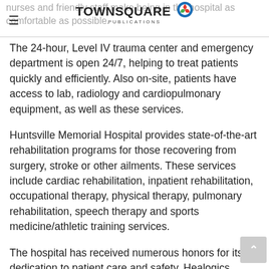nurses and friendly staff make being in the hospital as comfortable as possible.
The 24-hour, Level IV trauma center and emergency department is open 24/7, helping to treat patients quickly and efficiently. Also on-site, patients have access to lab, radiology and cardiopulmonary equipment, as well as these services.
Huntsville Memorial Hospital provides state-of-the-art rehabilitation programs for those recovering from surgery, stroke or other ailments. These services include cardiac rehabilitation, inpatient rehabilitation, occupational therapy, physical therapy, pulmonary rehabilitation, speech therapy and sports medicine/athletic training services.
The hospital has received numerous honors for its dedication to patient care and safety. Healogics